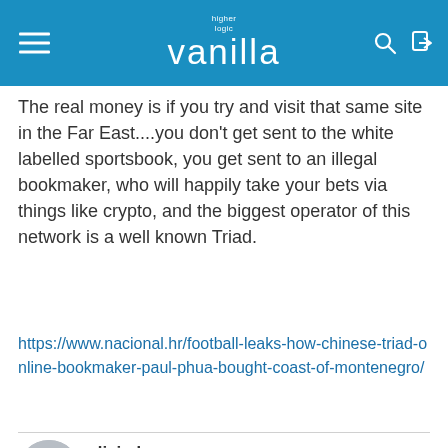higher logic vanilla
The real money is if you try and visit that same site in the Far East....you don't get sent to the white labelled sportsbook, you get sent to an illegal bookmaker, who will happily take your bets via things like crypto, and the biggest operator of this network is a well known Triad.
https://www.nacional.hr/football-leaks-how-chinese-triad-online-bookmaker-paul-phua-bought-coast-of-montenegro/
dixiedean  Posts: 23,098
September 2021
DecrepiterJohnL said:
show previous quotes